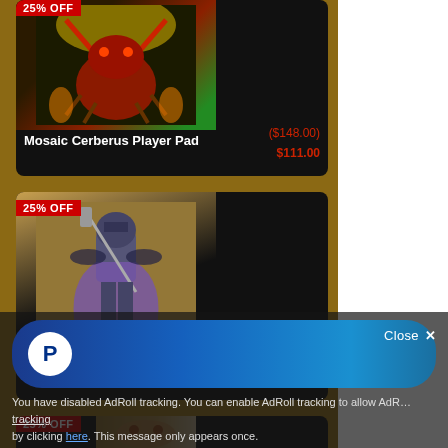[Figure (screenshot): Product card for Mosaic Cerberus Player Pad with 25% OFF badge, fantasy monster artwork, original price ($148.00) and sale price $111.00]
[Figure (screenshot): Product card for Mosaic Knight Player Pad with 25% OFF badge, fantasy knight artwork, sale price $111.00 and original price ($148.00)]
[Figure (screenshot): Partial product card with 25% OFF badge and partial artwork visible, third item in list]
[Figure (screenshot): PayPal overlay bar with close button and ad tracking consent text at bottom of page]